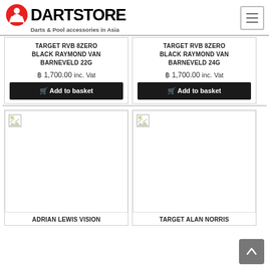[Figure (logo): Dartstore logo with red circle icon and text 'DARTSTORE - Darts & Pool accessories in Asia']
TARGET RVB 8ZERO BLACK RAYMOND VAN BARNEVELD 22G
฿ 1,700.00 inc. Vat
Add to basket
TARGET RVB 8ZERO BLACK RAYMOND VAN BARNEVELD 24G
฿ 1,700.00 inc. Vat
Add to basket
[Figure (photo): Product image placeholder (broken image) for ADRIAN LEWIS VISION]
ADRIAN LEWIS VISION
[Figure (photo): Product image placeholder (broken image) for TARGET ALAN NORRIS]
TARGET ALAN NORRIS